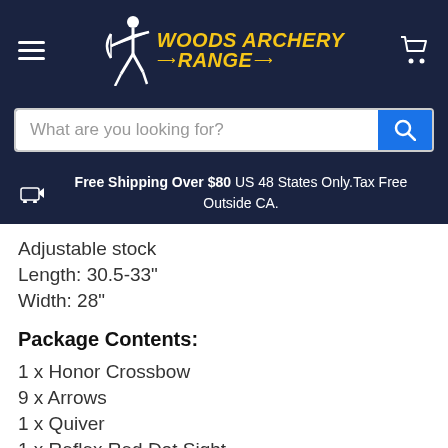[Figure (logo): Woods Archery Range logo with archer silhouette and yellow text]
What are you looking for?
Free Shipping Over $80 US 48 States Only.Tax Free Outside CA.
Adjustable stock
Length: 30.5-33"
Width: 28"
Package Contents:
1 x Honor Crossbow
9 x Arrows
1 x Quiver
1 x Reflex Red Dot Sight